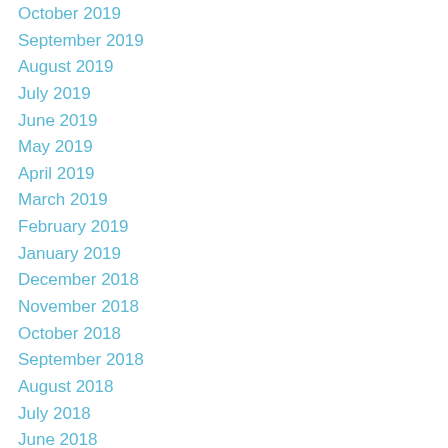October 2019
September 2019
August 2019
July 2019
June 2019
May 2019
April 2019
March 2019
February 2019
January 2019
December 2018
November 2018
October 2018
September 2018
August 2018
July 2018
June 2018
May 2018
April 2018
March 2018